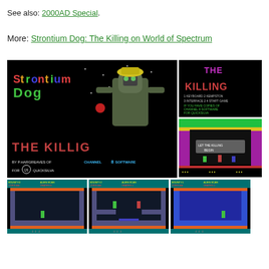See also: 2000AD Special.
More: Strontium Dog: The Killing on World of Spectrum
[Figure (screenshot): ZX Spectrum game screenshots of Strontium Dog: The Killing. Top row: large title screen showing 'Strontium Dog - The Killing' by P. Hargreaves of Channel 8 Software for Quicksilva; top-right: 'The Killing' main menu; middle-right: gameplay scene with 'Let The Killing Begin' text. Bottom row: three gameplay screenshots showing game levels with HUD displaying bounty, lives, alien scan, and deaths counters.]